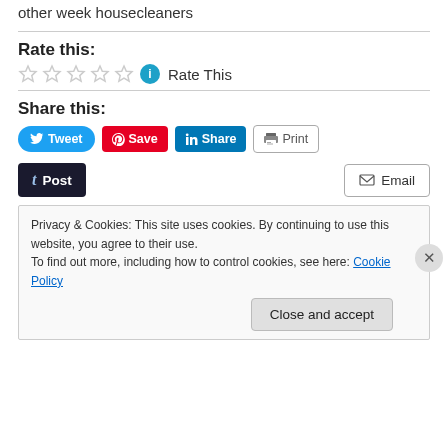other week housecleaners
Rate this:
☆ ☆ ☆ ☆ ☆  Rate This
Share this:
Tweet  Save  Share  Print
Post  Email
Privacy & Cookies: This site uses cookies. By continuing to use this website, you agree to their use. To find out more, including how to control cookies, see here: Cookie Policy
Close and accept